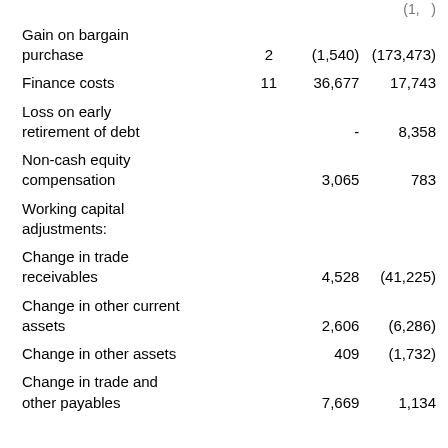|  | Note | Col1 | Col2 |
| --- | --- | --- | --- |
| Gain on bargain purchase | 2 | (1,540) | (173,473) |
| Finance costs | 11 | 36,677 | 17,743 |
| Loss on early retirement of debt |  | - | 8,358 |
| Non-cash equity compensation |  | 3,065 | 783 |
| Working capital adjustments: |  |  |  |
| Change in trade receivables |  | 4,528 | (41,225) |
| Change in other current assets |  | 2,606 | (6,286) |
| Change in other assets |  | 409 | (1,732) |
| Change in trade and other payables |  | 7,669 | 1,134 |